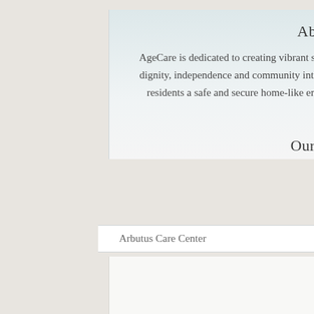About AgeCare
AgeCare is dedicated to creating vibrant seniors communities that celebrate and support aging with dignity, independence and community interaction. We offer our retirement home and nursing home residents a safe and secure home-like environment where they and their families can be assured peace of mind.
Our Communities
Arbutus Care Center
Opportunities
Careers
Volunteer
Follow Us On
[Figure (illustration): Social media icons: Facebook, Twitter, Pinterest]